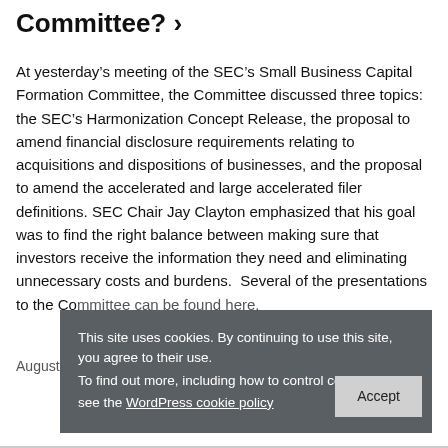Committee? >
At yesterday's meeting of the SEC's Small Business Capital Formation Committee, the Committee discussed three topics: the SEC's Harmonization Concept Release, the proposal to amend financial disclosure requirements relating to acquisitions and dispositions of businesses, and the proposal to amend the accelerated and large accelerated filer definitions. SEC Chair Jay Clayton emphasized that his goal was to find the right balance between making sure that investors receive the information they need and eliminating unnecessary costs and burdens.  Several of the presentations to the Committee can be found here.
August 23, [date continues]
This site uses cookies. By continuing to use this site, you agree to their use.
To find out more, including how to control cookies, see the WordPress cookie policy